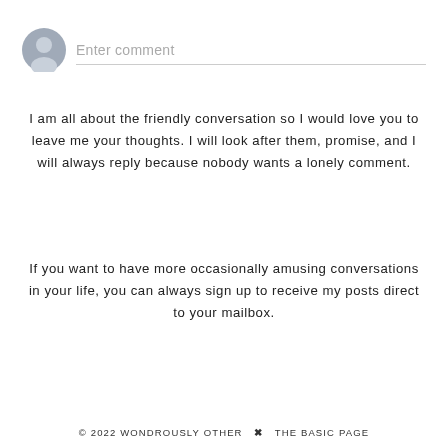[Figure (illustration): Gray circular user avatar icon with a silhouette of a person, followed by a comment input field with placeholder text 'Enter comment' and a bottom border line]
I am all about the friendly conversation so I would love you to leave me your thoughts. I will look after them, promise, and I will always reply because nobody wants a lonely comment.
If you want to have more occasionally amusing conversations in your life, you can always sign up to receive my posts direct to your mailbox.
© 2022 WONDROUSLY OTHER  ✖  THE BASIC PAGE